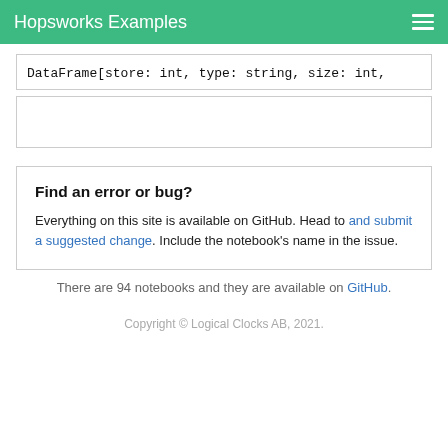Hopsworks Examples
DataFrame[store: int, type: string, size: int,
[Figure (other): Empty bordered box (code output area)]
Find an error or bug?
Everything on this site is available on GitHub. Head to and submit a suggested change. Include the notebook's name in the issue.
There are 94 notebooks and they are available on GitHub.
Copyright © Logical Clocks AB, 2021.